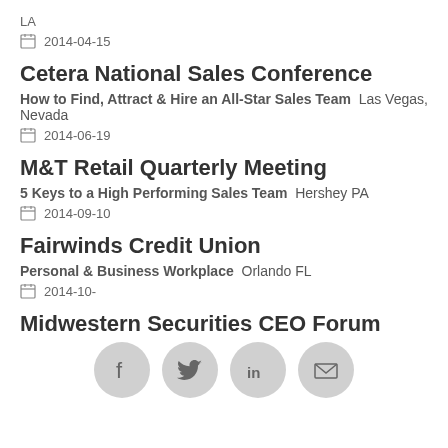LA
2014-04-15
Cetera National Sales Conference
How to Find, Attract & Hire an All-Star Sales Team   Las Vegas, Nevada
2014-06-19
M&T Retail Quarterly Meeting
5 Keys to a High Performing Sales Team   Hershey PA
2014-09-10
Fairwinds Credit Union
Personal & Business Workplace   Orlando FL
2014-10-
Midwestern Securities CEO Forum
[Figure (infographic): Social share buttons: Facebook, Twitter, LinkedIn, Email]